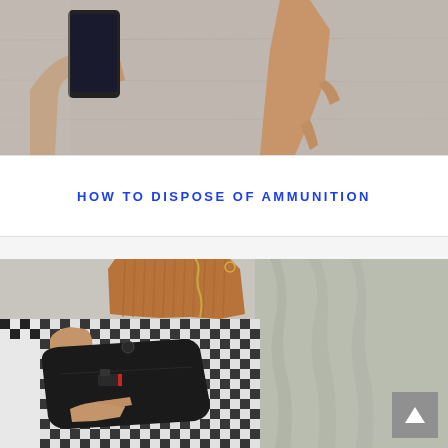[Figure (photo): Top portion of a photo showing hands holding a smartphone against a concrete/pavement background]
HOW TO DISPOSE OF AMMUNITION
[Figure (photo): Woman wearing a brown ribbed sweater and black-and-white houndstooth skirt, holding an open black clutch/wallet bag with a small gun visible inside. A back-to-top arrow button appears in the lower right corner.]